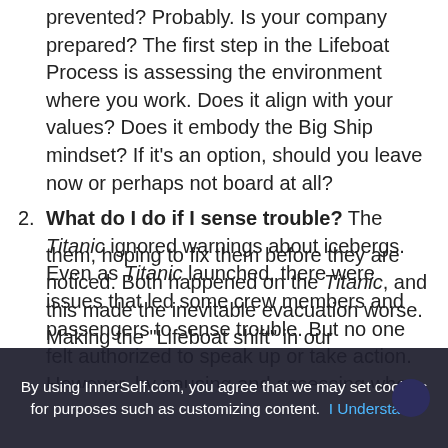prevented? Probably. Is your company prepared? The first step in the Lifeboat Process is assessing the environment where you work. Does it align with your values? Does it embody the Big Ship mindset? If it's an option, should you leave now or perhaps not board at all?
What do I do if I sense trouble? The Titanic ignored warnings about icebergs. Even as Titanic launched, there were issues that led some crew members and passengers to sense trouble. But no one felt authorized to speak up or take action. However, by pausing and assessing when you notice red flags, you can recognize problems both on the horizon and in your emotional reactions to danger.
When is it time to get in a lifeboat? People sometimes deny problems or delay their reactions to them, hoping to fix them before they are noticed. Both happened on the Titanic, and this made the inevitable evacuation worse. Making the "Lifeboat shift" in our
By using InnerSelf.com, you agree that we may set cookies for purposes such as customizing content.  I Understand